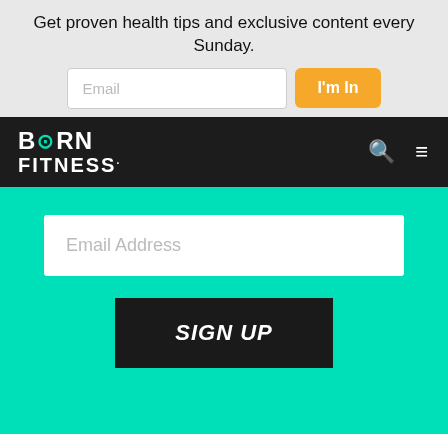Get proven health tips and exclusive content every Sunday.
[Figure (screenshot): Email input field with placeholder 'Email' and orange 'I'm In' button]
BORN FITNESS.
[Figure (screenshot): Email address input field on teal background with placeholder 'Email Address']
[Figure (screenshot): Black 'SIGN UP' button on teal background]
SHARE: